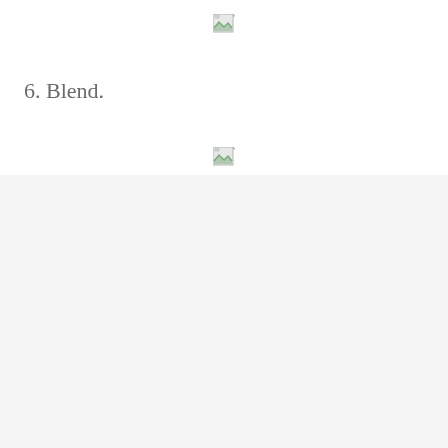[Figure (other): Broken image placeholder icon (top)]
6. Blend.
[Figure (other): Broken image placeholder icon (middle)]
[Figure (other): Light gray content area with three dots loading indicator, a count of 10, a heart/favorite button, and a search button]